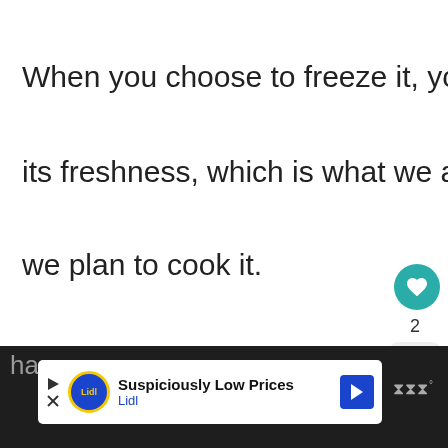When you choose to freeze it, you preserve
its freshness, which is what we all want when
we plan to cook it.
But you have to understand that the
[Figure (screenshot): UI overlay with heart/like button (teal circle with heart icon), like count '2', share button, and 'WHAT'S NEXT → Can You Freeze Ques...' panel with thumbnail]
ha
[Figure (screenshot): Advertisement banner: Lidl 'Suspiciously Low Prices' ad with Lidl logo, play/close buttons, and blue arrow]
⋙°